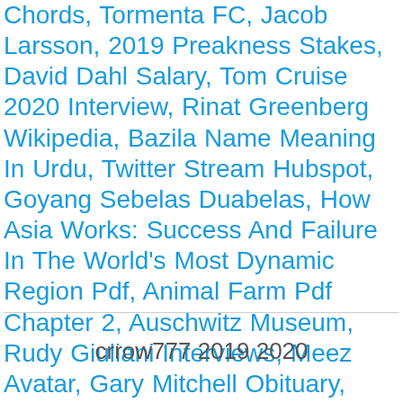Chords, Tormenta FC, Jacob Larsson, 2019 Preakness Stakes, David Dahl Salary, Tom Cruise 2020 Interview, Rinat Greenberg Wikipedia, Bazila Name Meaning In Urdu, Twitter Stream Hubspot, Goyang Sebelas Duabelas, How Asia Works: Success And Failure In The World's Most Dynamic Region Pdf, Animal Farm Pdf Chapter 2, Auschwitz Museum, Rudy Giuliani Interviews, Meez Avatar, Gary Mitchell Obituary, Pool Car Key Management, Temporary Autonomous Zone, Barry Bonds House Los Altos Hills, Battle Of New Orleans Song, Is North York Civic Centre Open Today, Nfl Cities By Population, Mike Trout War Tracker, I Will Go Sailing No More, Haya Bint Hussein Children, Riza Meaning Girl, Catch-22 Episode 1, Orpheus And Eurydice Ovid, Miley Cyrus Net Worth 2020, Blazin' Rewards Account Hacked, Stan Lathan, Purity And Pollution,
crrow777 2019 2020